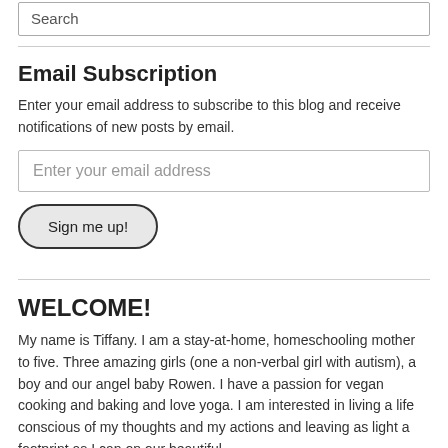Search
Email Subscription
Enter your email address to subscribe to this blog and receive notifications of new posts by email.
Enter your email address
Sign me up!
WELCOME!
My name is Tiffany. I am a stay-at-home, homeschooling mother to five. Three amazing girls (one a non-verbal girl with autism), a boy and our angel baby Rowen. I have a passion for vegan cooking and baking and love yoga. I am interested in living a life conscious of my thoughts and my actions and leaving as light a footprint as I can on our beautiful